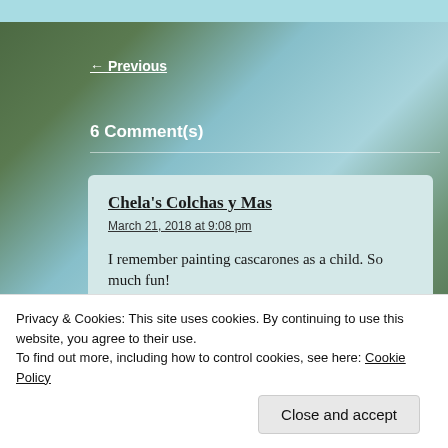[Figure (photo): Background photo of trees with green foliage against a light blue sky, with a teal strip at the top]
← Previous
6 Comment(s)
Chela's Colchas y Mas
March 21, 2018 at 9:08 pm
I remember painting cascarones as a child. So much fun!
★ Like
Privacy & Cookies: This site uses cookies. By continuing to use this website, you agree to their use.
To find out more, including how to control cookies, see here: Cookie Policy
Close and accept